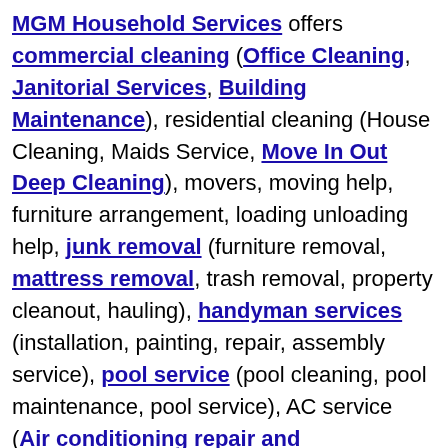MGM Household Services offers commercial cleaning (Office Cleaning, Janitorial Services, Building Maintenance), residential cleaning (House Cleaning, Maids Service, Move In Out Deep Cleaning), movers, moving help, furniture arrangement, loading unloading help, junk removal (furniture removal, mattress removal, trash removal, property cleanout, hauling), handyman services (installation, painting, repair, assembly service), pool service (pool cleaning, pool maintenance, pool service), AC service (Air conditioning repair and maintenance). Call us for all you commercial and residential maintenance and repair needs. Free estimates. Located in Las Vegas NV